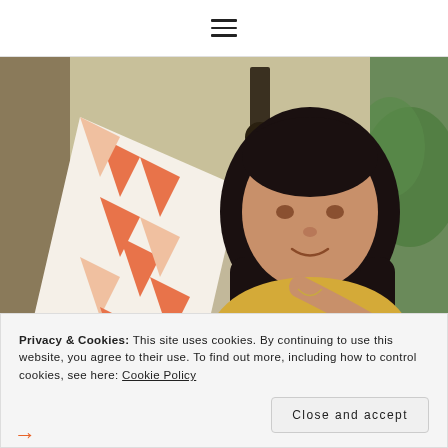≡ (hamburger menu icon)
[Figure (photo): A woman with long dark hair wearing a yellow floral dress holds up a white and orange geometric patterned quilt or fabric, smiling downward. She stands on a covered porch with green trees visible in the background.]
Privacy & Cookies: This site uses cookies. By continuing to use this website, you agree to their use. To find out more, including how to control cookies, see here: Cookie Policy
Close and accept